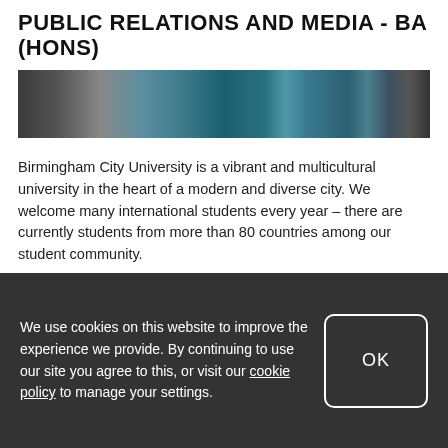PUBLIC RELATIONS AND MEDIA - BA (HONS)
[Figure (photo): A cropped photo showing students or people, with teal/blue clothing and graffiti-style text visible in the background.]
Birmingham City University is a vibrant and multicultural university in the heart of a modern and diverse city. We welcome many international students every year – there are currently students from more than 80 countries among our student community.
The University is conveniently placed, with Birmingham International Airport nearby and first-rate transport
We use cookies on this website to improve the experience we provide. By continuing to use our site you agree to this, or visit our cookie policy to manage your settings.